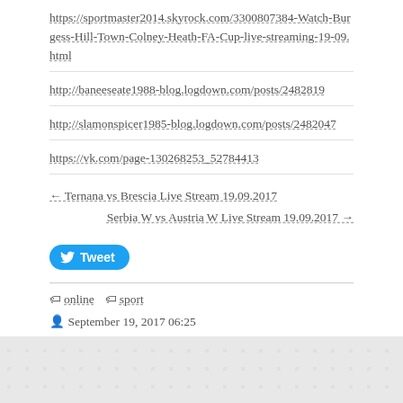https://sportmaster2014.skyrock.com/3300807384-Watch-Burgess-Hill-Town-Colney-Heath-FA-Cup-live-streaming-19-09.html
http://baneeseate1988-blog.logdown.com/posts/2482819
http://slamonspicer1985-blog.logdown.com/posts/2482047
https://vk.com/page-130268253_52784413
← Ternana vs Brescia Live Stream 19.09.2017
Serbia W vs Austria W Live Stream 19.09.2017 →
[Figure (other): Tweet button — blue rounded button with Twitter bird icon and 'Tweet' label]
online  sport
September 19, 2017 06:25